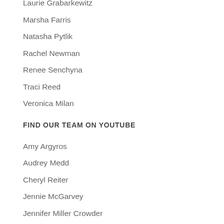Laurie Grabarkewitz
Marsha Farris
Natasha Pytlik
Rachel Newman
Renee Senchyna
Traci Reed
Veronica Milan
FIND OUR TEAM ON YOUTUBE
Amy Argyros
Audrey Medd
Cheryl Reiter
Jennie McGarvey
Jennifer Miller Crowder